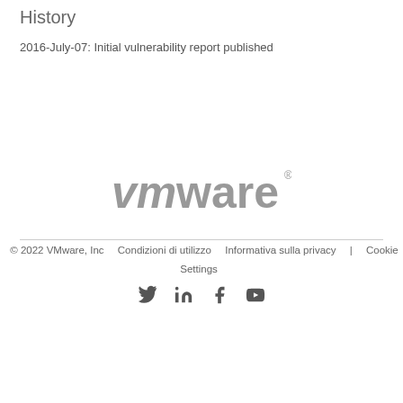History
2016-July-07: Initial vulnerability report published
[Figure (logo): VMware logo in gray]
© 2022 VMware, Inc   Condizioni di utilizzo   Informativa sulla privacy   Cookie Settings